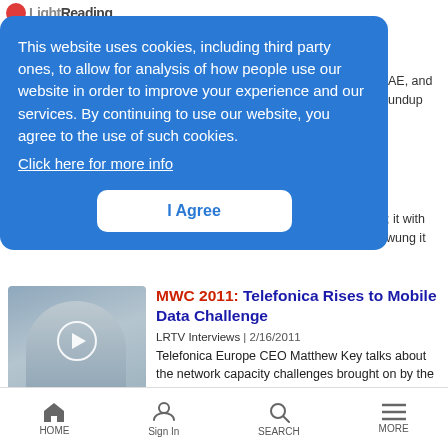Light Reading
This website uses cookies, including third party ones, to allow for analysis of how people use our website in order to improve your experience and our services. By continuing to use our website, you agree to the use of such cookies.
Click here for more info
I Agree
AE, and
undup
; it with
wung it
[Figure (photo): Video thumbnail showing a man in a blue shirt gesturing, with a play button overlay]
MWC 2011: Telefonica Rises to Mobile Data Challenge
LRTV Interviews | 2/16/2011
Telefonica Europe CEO Matthew Key talks about the network capacity challenges brought on by the iPhone and other smartphones, how Wi-Fi can help, and shares the latest on the operator's LTE
HOME  Sign In  SEARCH  MORE